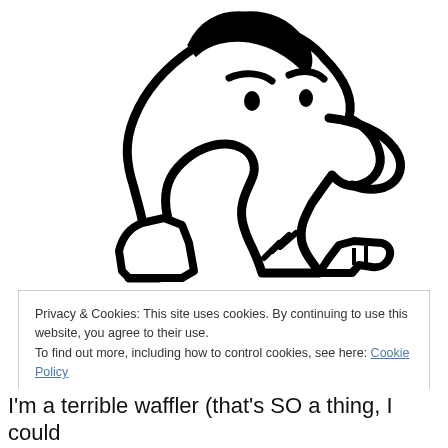[Figure (illustration): Black and white cartoon illustration of a stylized male figure in profile, drawn with bold outlines. The figure has an exaggerated large nose pointing left, small eyes with raised eyebrows, dark hair, and is wearing a shirt with a collar. The pose suggests a thinking or curious expression. The art style is simple and comic-like.]
Privacy & Cookies: This site uses cookies. By continuing to use this website, you agree to their use.
To find out more, including how to control cookies, see here: Cookie Policy
Close and accept
I'm a terrible waffler (that's SO a thing, I could